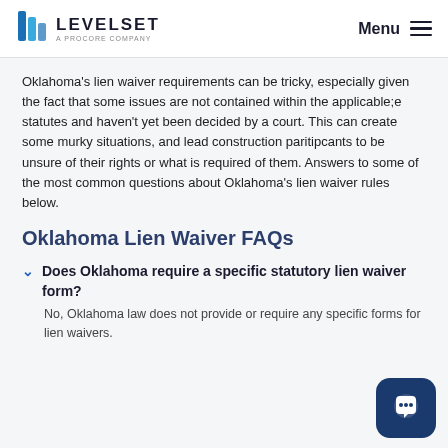LEVELSET — A PROCORE COMPANY | Menu
Oklahoma's lien waiver requirements can be tricky, especially given the fact that some issues are not contained within the applicable;e statutes and haven't yet been decided by a court. This can create some murky situations, and lead construction paritipcants to be unsure of their rights or what is required of them. Answers to some of the most common questions about Oklahoma's lien waiver rules below.
Oklahoma Lien Waiver FAQs
Does Oklahoma require a specific statutory lien waiver form?
No, Oklahoma law does not provide or require any specific forms for lien waivers.